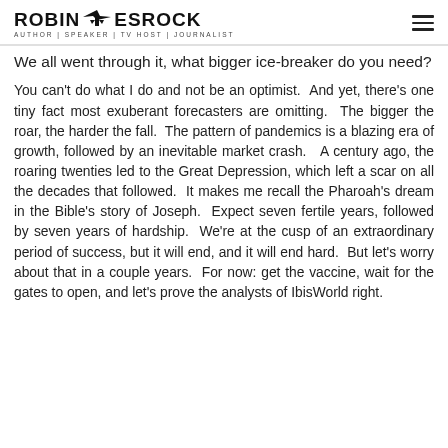ROBIN ESROCK — AUTHOR | SPEAKER | TV HOST | JOURNALIST
We all went through it, what bigger ice-breaker do you need?
You can't do what I do and not be an optimist.  And yet, there's one tiny fact most exuberant forecasters are omitting.  The bigger the roar, the harder the fall.  The pattern of pandemics is a blazing era of growth, followed by an inevitable market crash.   A century ago, the roaring twenties led to the Great Depression, which left a scar on all the decades that followed.  It makes me recall the Pharoah's dream in the Bible's story of Joseph.  Expect seven fertile years, followed by seven years of hardship.  We're at the cusp of an extraordinary period of success, but it will end, and it will end hard.  But let's worry about that in a couple years.  For now: get the vaccine, wait for the gates to open, and let's prove the analysts of IbisWorld right.